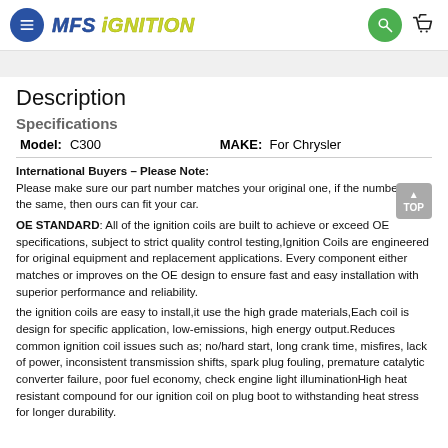MFS IGNITION
Description
Specifications
| Model: | C300 | MAKE: | For Chrysler |
| --- | --- | --- | --- |
International Buyers – Please Note: Please make sure our part number matches your original one, if the numbers are the same, then ours can fit your car.
OE STANDARD: All of the ignition coils are built to achieve or exceed OE specifications, subject to strict quality control testing,Ignition Coils are engineered for original equipment and replacement applications. Every component either matches or improves on the OE design to ensure fast and easy installation with superior performance and reliability.
the ignition coils are easy to install,it use the high grade materials,Each coil is design for specific application, low-emissions, high energy output.Reduces common ignition coil issues such as; no/hard start, long crank time, misfires, lack of power, inconsistent transmission shifts, spark plug fouling, premature catalytic converter failure, poor fuel economy, check engine light illuminationHigh heat resistant compound for our ignition coil on plug boot to withstanding heat stress for longer durability.